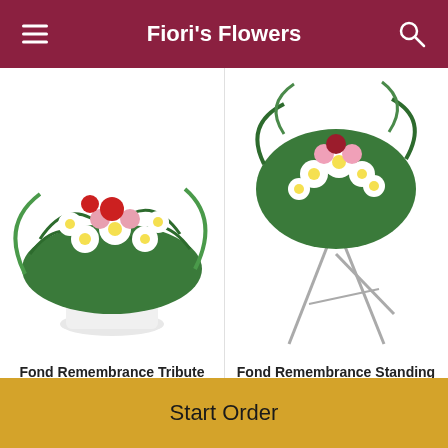Fiori's Flowers
[Figure (photo): Floral arrangement in white pot with pink and white flowers and greenery - Fond Remembrance Tribute]
Fond Remembrance Tribute
From $103.95
[Figure (photo): Standing flower spray on metal easel with white and pink flowers and tropical greenery - Fond Remembrance Standing Spray]
Fond Remembrance Standing Spray
From $179.95
POWERED BY lovingly
Start Order